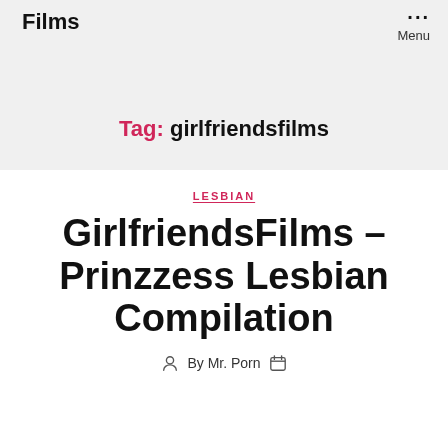Films
Menu
Tag: girlfriendsfilms
LESBIAN
GirlfriendsFilms – Prinzzess Lesbian Compilation
By Mr. Porn